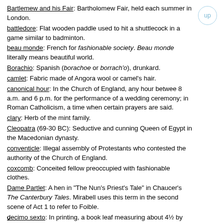Bartlemew and his Fair: Bartholomew Fair, held each summer in London.
battledore: Flat wooden paddle used to hit a shuttlecock in a game similar to badminton.
beau monde: French for fashionable society. Beau monde literally means beautiful world.
Borachio: Spanish (borachoe or borrach'o), drunkard.
camlet: Fabric made of Angora wool or camel's hair.
canonical hour: In the Church of England, any hour between 8 a.m. and 6 p.m. for the performance of a wedding ceremony; in Roman Catholicism, a time when certain prayers are said.
clary: Herb of the mint family.
Cleopatra (69-30 BC): Seductive and cunning Queen of Egypt in the Macedonian dynasty.
conventicle: Illegal assembly of Protestants who contested the authority of the Church of England.
coxcomb: Conceited fellow preoccupied with fashionable clothes.
Dame Partlet: A hen in "The Nun's Priest's Tale" in Chaucer's The Canterbury Tales. Mirabell uses this term in the second scene of Act 1 to refer to Foible.
decimo sexto: In printing, a book leaf measuring about 4½ by 6¾ inches.
dormitives: Preparations that induce sleep.
drap de berri: Drap de Berry, woolen cloth made in Berry, France.
dropsy: Edema, a condition in which fluid accumulates in
v